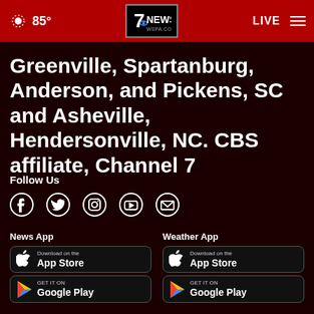85° | 7NEWS WSPA.COM | LIVE
Greenville, Spartanburg, Anderson, and Pickens, SC and Asheville, Hendersonville, NC. CBS affiliate, Channel 7
Follow Us
[Figure (infographic): Social media icons: Facebook, Twitter, Instagram, YouTube, Email]
News App
[Figure (infographic): Download on the App Store button]
[Figure (infographic): GET IT ON Google Play button]
Weather App
[Figure (infographic): Download on the App Store button]
[Figure (infographic): GET IT ON Google Play button]